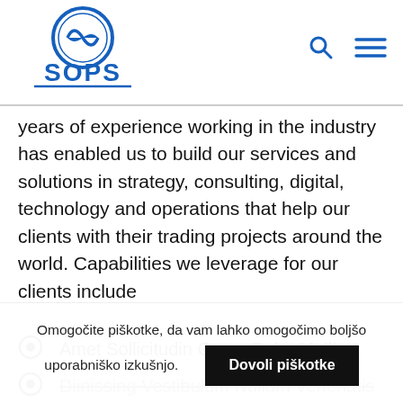[Figure (logo): SOPS company logo with blue circular emblem above blue SOPS text with underline]
years of experience working in the industry has enabled us to build our services and solutions in strategy, consulting, digital, technology and operations that help our clients with their trading projects around the world. Capabilities we leverage for our clients include
Amet Sollicitudin Quam Dolor Mollis
Diinissing Vestibulum Nullam Venenatis
Omogočite piškotke, da vam lahko omogočimo boljšo uporabniško izkušnjo.
Dovoli piškotke